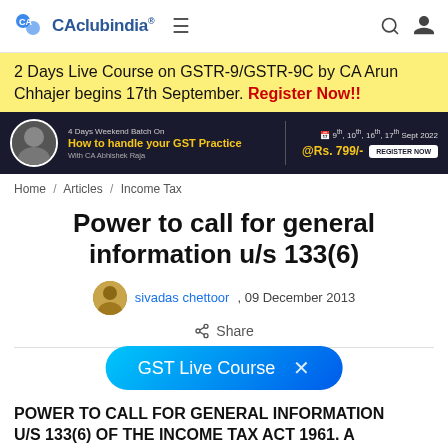CAclubindia®
2 Days Live Course on GSTR-9/GSTR-9C by CA Arun Chhajer begins 17th September. Register Now!!
[Figure (infographic): Dark banner ad: 4 Days Weekend Batch On How to handle your GST Practice with CA Abhishek Raja. 9th, 10th, 16th, 17th Sept 2022 @Rs. 799/- REGISTER NOW]
Home / Articles / Income Tax
Power to call for general information u/s 133(6)
sivadas chettoor , 09 December 2013
Share
GST Live Course
POWER TO CALL FOR GENERAL INFORMATION U/S 133(6) OF THE INCOME TAX ACT 1961. A